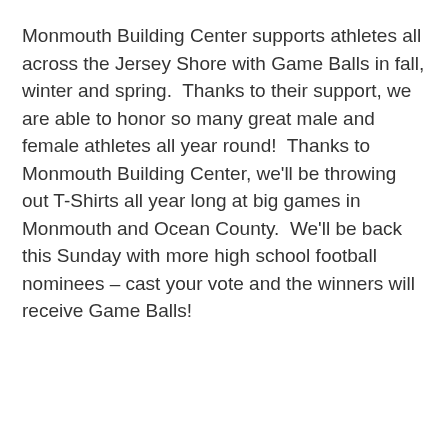Monmouth Building Center supports athletes all across the Jersey Shore with Game Balls in fall, winter and spring.  Thanks to their support, we are able to honor so many great male and female athletes all year round!  Thanks to Monmouth Building Center, we'll be throwing out T-Shirts all year long at big games in Monmouth and Ocean County.  We'll be back this Sunday with more high school football nominees – cast your vote and the winners will receive Game Balls!